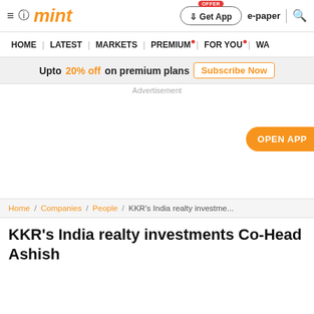mint
HOME | LATEST | MARKETS | PREMIUM | FOR YOU | WA...
Upto 20% off on premium plans Subscribe Now
Advertisement
OPEN APP
Home / Companies / People / KKR's India realty investme...
KKR's India realty investments Co-Head Ashish